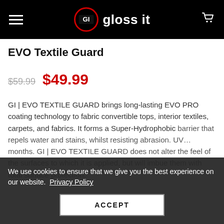gloss it — navigation header
EVO Textile Guard
$59.99  $49.99
GI | EVO TEXTILE GUARD brings long-lasting EVO PRO coating technology to fabric convertible tops, interior textiles, carpets, and fabrics. It forms a Super-Hydrophobic barrier that repels water and stains, whilst resisting abrasion. UV... months. GI | EVO TEXTILE GUARD does not alter the feel of the surfaces to which it is applied, but will imbue them with total surface protection.
We use cookies to ensure that we give you the best experience on our website.  Privacy Policy
ACCEPT